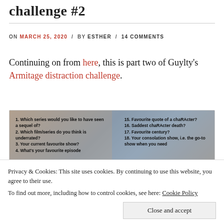challenge #2
ON MARCH 25, 2020 / BY ESTHER / 14 COMMENTS
Continuing on from here, this is part two of Guylty's Armitage distraction challenge.
[Figure (photo): An image showing a list of challenge questions numbered 1-4 on left side and 15-18 on right side, with text overlaid on a photo background. Bottom strip shows questions 11 and 25.]
Privacy & Cookies: This site uses cookies. By continuing to use this website, you agree to their use. To find out more, including how to control cookies, see here: Cookie Policy
Close and accept